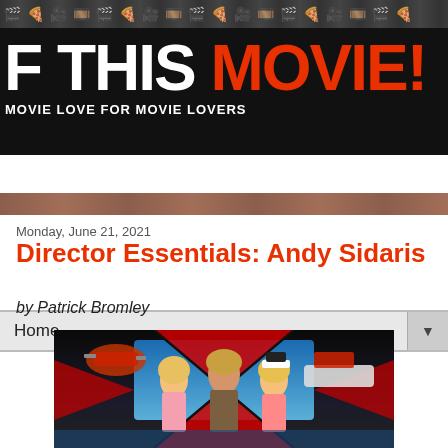[Figure (screenshot): Website header banner with dark background showing partial site logo text 'F THIS MOVIE!' with white and red lettering, tagline 'MOVIE LOVE FOR MOVIE LOVERS', decorative icon row at top]
Home ▼
Monday, June 21, 2021
Director Essentials: Andy Sidaris
by Patrick Bromley
[Figure (photo): Movie poster-style image showing three figures against a dark background with a red X pattern — a muscular shirtless man flanked by two blonde women, with vehicles (helicopter, boats) in the background]